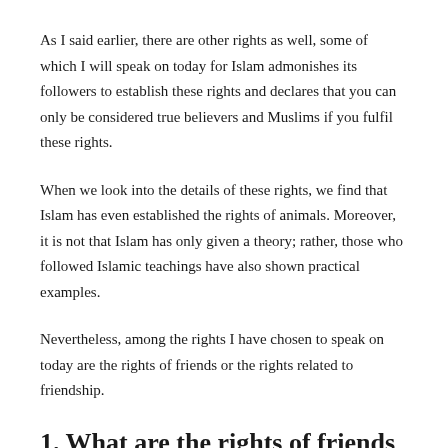As I said earlier, there are other rights as well, some of which I will speak on today for Islam admonishes its followers to establish these rights and declares that you can only be considered true believers and Muslims if you fulfil these rights.
When we look into the details of these rights, we find that Islam has even established the rights of animals. Moreover, it is not that Islam has only given a theory; rather, those who followed Islamic teachings have also shown practical examples.
Nevertheless, among the rights I have chosen to speak on today are the rights of friends or the rights related to friendship.
1. What are the rights of friends in Islam?
In this regard, Allah the Exalted has guided us in great detail and